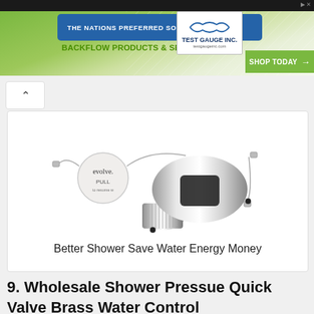THE NATIONS PREFERRED SOURCE FOR BACKFLOW PRODUCTS & SERVICES | TEST GAUGE INC. | SHOP TODAY
[Figure (photo): Chrome shower valve device (evolve brand) with PULL tab - Better Shower Save Water Energy Money]
Better Shower Save Water Energy Money
9. Wholesale Shower Pressue Quick Valve Brass Water Control
[Figure (photo): Partial view of a red valve/shower product at bottom of page]